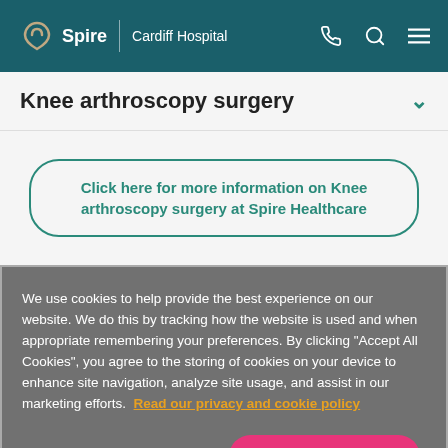Spire | Cardiff Hospital
Knee arthroscopy surgery
Click here for more information on Knee arthroscopy surgery at Spire Healthcare
We use cookies to help provide the best experience on our website. We do this by tracking how the website is used and when appropriate remembering your preferences. By clicking "Accept All Cookies", you agree to the storing of cookies on your device to enhance site navigation, analyze site usage, and assist in our marketing efforts. Read our privacy and cookie policy
Cookies Settings
Accept All Cookies